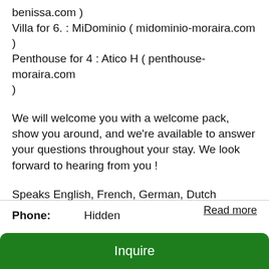benissa.com )
Villa for 6. : MiDominio ( midominio-moraira.com )
Penthouse for 4 : Atico H ( penthouse-moraira.com )
We will welcome you with a welcome pack, show you around, and we're available to answer your questions throughout your stay. We look forward to hearing from you !
Speaks English, French, German, Dutch
Read more
Phone:  Hidden
Inquire